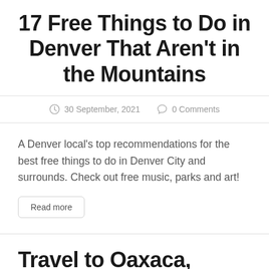17 Free Things to Do in Denver That Aren't in the Mountains
30 September, 2021   0 Comments
A Denver local's top recommendations for the best free things to do in Denver City and surrounds. Check out free music, parks and art!
Read more
Travel to Oaxaca, Mexico (A